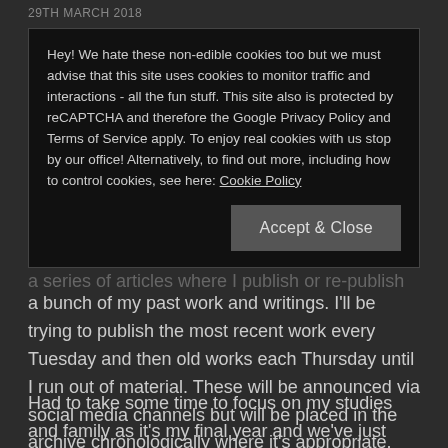29TH MARCH 2018
Hey! We hate these non-edible cookies too but we must advise that this site uses cookies to monitor traffic and interactions - all the fun stuff. This site also is protected by reCAPTCHA and therefore the Google Privacy Policy and Terms of Service apply. To enjoy real cookies with us stop by our office! Alternatively, to find out more, including how to control cookies, see here: Cookie Policy
Accept & Close
a series of articles where I publish or re-publish a bunch of my past work and writings. I'll be trying to publish the most recent work every Tuesday and then old works each Thursday until I run out of material. These will be announced via social media channels but will be placed in the archive chronologically where it's appropriate.
Had to take some time to focus on my studies and family as it's my final year and we've just had our second child in February. It's good to be back!